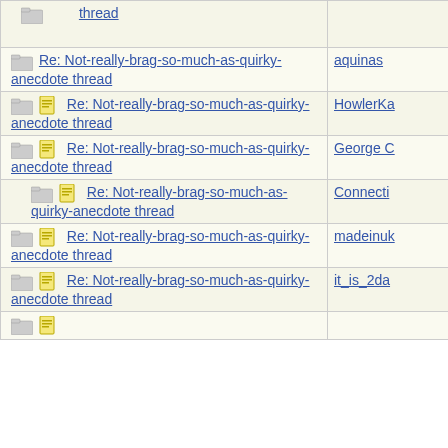| Topic | Author |
| --- | --- |
| Re: Not-really-brag-so-much-as-quirky-anecdote thread | aquinas |
| Re: Not-really-brag-so-much-as-quirky-anecdote thread | HowlerKa |
| Re: Not-really-brag-so-much-as-quirky-anecdote thread | George C |
| Re: Not-really-brag-so-much-as-quirky-anecdote thread | Connecti |
| Re: Not-really-brag-so-much-as-quirky-anecdote thread | madeinuk |
| Re: Not-really-brag-so-much-as-quirky-anecdote thread | it_is_2da |